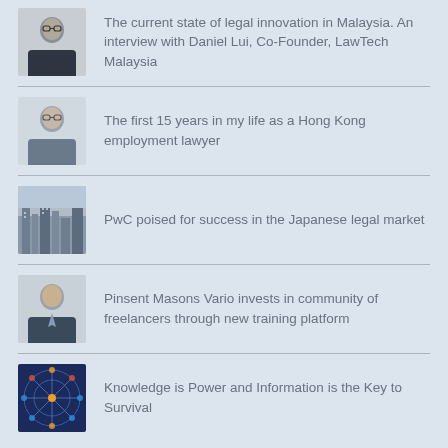The current state of legal innovation in Malaysia. An interview with Daniel Lui, Co-Founder, LawTech Malaysia
The first 15 years in my life as a Hong Kong employment lawyer
PwC poised for success in the Japanese legal market
Pinsent Masons Vario invests in community of freelancers through new training platform
Knowledge is Power and Information is the Key to Survival